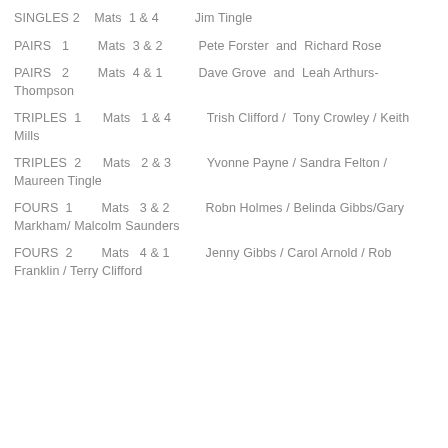SINGLES 2    Mats  1 & 4           Jim Tingle
PAIRS   1        Mats  3 & 2           Pete Forster  and  Richard Rose
PAIRS   2        Mats  4 & 1           Dave Grove  and  Leah Arthurs-Thompson
TRIPLES  1       Mats   1 & 4           Trish Clifford /  Tony Crowley / Keith Mills
TRIPLES  2       Mats   2 & 3           Yvonne Payne / Sandra Felton / Maureen Tingle
FOURS  1         Mats   3 & 2           Robn Holmes / Belinda Gibbs/Gary Markham/ Malcolm Saunders
FOURS  2         Mats   4 & 1           Jenny Gibbs / Carol Arnold / Rob Franklin / Terry Clifford